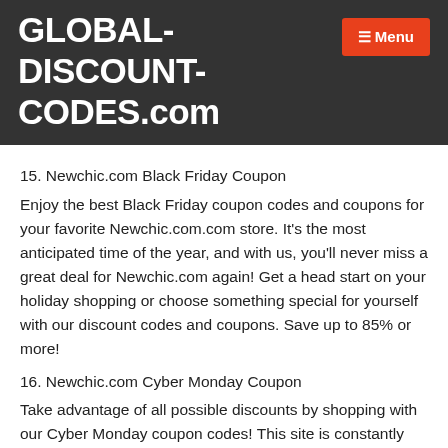GLOBAL-DISCOUNT-CODES.com
15. Newchic.com Black Friday Coupon
Enjoy the best Black Friday coupon codes and coupons for your favorite Newchic.com.com store. It's the most anticipated time of the year, and with us, you'll never miss a great deal for Newchic.com again! Get a head start on your holiday shopping or choose something special for yourself with our discount codes and coupons. Save up to 85% or more!
16. Newchic.com Cyber Monday Coupon
Take advantage of all possible discounts by shopping with our Cyber Monday coupon codes! This site is constantly updated and you always get a valid coupon, you can fill more Cyber Monday shopping carts because you get discounts up to 85%! Bookmark this page and stay up to date with more the greatest coupons on this Cyber Monda